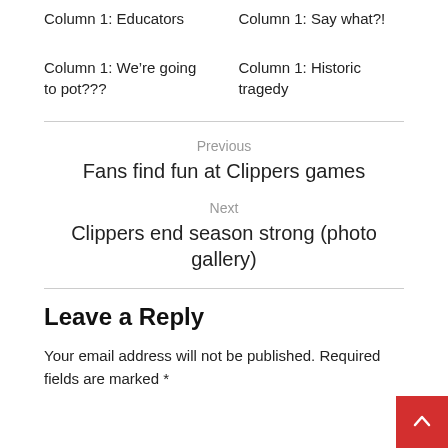Column 1: Educators
Column 1: Say what?!
Column 1: We're going to pot???
Column 1: Historic tragedy
Previous
Fans find fun at Clippers games
Next
Clippers end season strong (photo gallery)
Leave a Reply
Your email address will not be published. Required fields are marked *